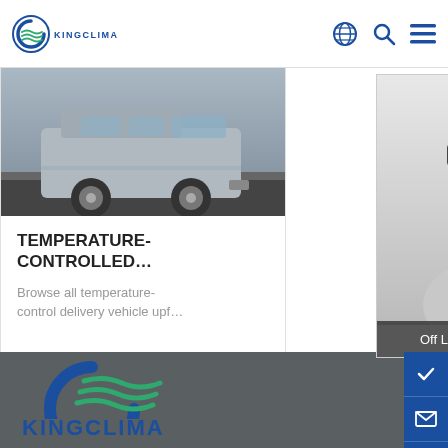[Figure (logo): KingClima logo in header - blue C with green wave lines and KINGCLIMA text]
[Figure (other): Navigation icons: globe, search, hamburger menu in blue]
[Figure (photo): Photo of a delivery van/truck in grey]
TEMPERATURE-CONTROLLED...
Browse all temperature-control delivery vehicle upf...
GET PRICE →
[Figure (photo): Black and white photo of a woman wearing a headset, smiling - customer service representative]
Off Line to Leave a Message
[Figure (logo): Large KingClima logo in footer - blue C arc with green wave and KINGCLIMA text in blue]